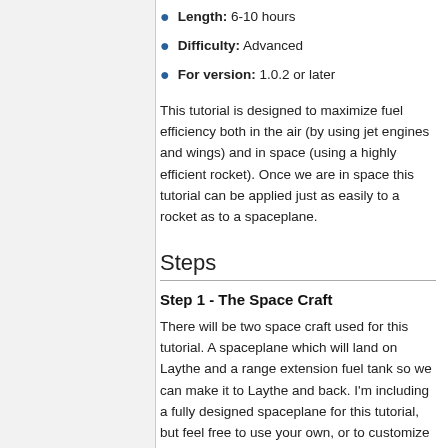Length: 6-10 hours
Difficulty: Advanced
For version: 1.0.2 or later
This tutorial is designed to maximize fuel efficiency both in the air (by using jet engines and wings) and in space (using a highly efficient rocket). Once we are in space this tutorial can be applied just as easily to a rocket as to a spaceplane.
Steps
Step 1 - The Space Craft
There will be two space craft used for this tutorial. A spaceplane which will land on Laythe and a range extension fuel tank so we can make it to Laythe and back. I'm including a fully designed spaceplane for this tutorial, but feel free to use your own, or to customize the one